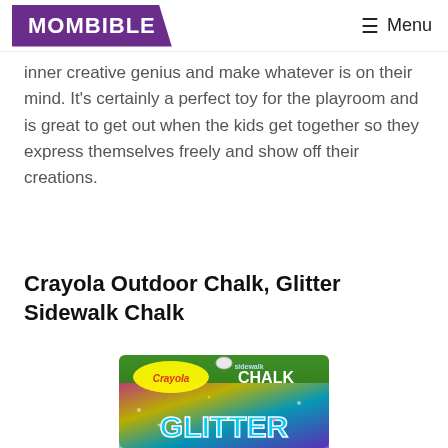MOMBIBLE  Menu
inner creative genius and make whatever is on their mind. It's certainly a perfect toy for the playroom and is great to get out when the kids get together so they express themselves freely and show off their creations.
Crayola Outdoor Chalk, Glitter Sidewalk Chalk
[Figure (photo): Crayola Sidewalk Chalk Glitter product packaging — colorful glitter-covered box with Crayola logo and large glittery 'GLITTER' text at the bottom]